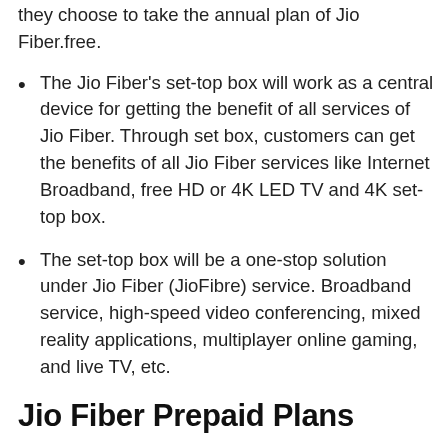they choose to take the annual plan of Jio Fiber.free.
The Jio Fiber's set-top box will work as a central device for getting the benefit of all services of Jio Fiber. Through set box, customers can get the benefits of all Jio Fiber services like Internet Broadband, free HD or 4K LED TV and 4K set-top box.
The set-top box will be a one-stop solution under Jio Fiber (JioFibre) service. Broadband service, high-speed video conferencing, mixed reality applications, multiplayer online gaming, and live TV, etc.
Jio Fiber Prepaid Plans